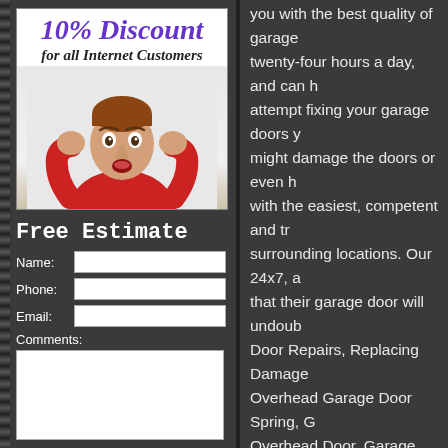[Figure (photo): Advertisement image showing '10% Discount for all Internet Customers' banner at top with a surprised-looking young man in a red shirt below it, on a light background.]
Free Estimate
Name: [input] Phone: [input] Email: [input] Comments: [textarea]
you with the best quality of garage twenty-four hours a day, and can attempt fixing your garage doors y might damage the doors or even h with the easiest, competent and tr surrounding locations. Our 24x7, a that their garage door will undoub Door Repairs, Replacing Damage Overhead Garage Door Spring, G Overhead Door, Garage Door Spr Doors, Door Light Switch, Electric Door Installation, Broken Cables, Hardware, Torsion Spring, New G Door Service, Garage Door Off Tr Garage Springs, New Overhead D Accessories, Garage Door Opene Garage Door Repair, Bent Garage Springs, Garage Door Opener R